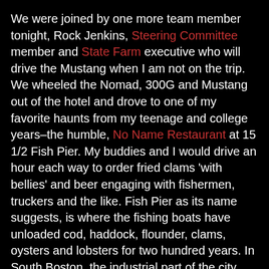We were joined by one more team member tonight, Rock Jenkins, Steering Committee member and State Farm executive who will drive the Mustang when I am not on the trip. We wheeled the Nomad, 300G and Mustang out of the hotel and drove to one of my favorite haunts from my teenage and college years–the humble, No Name Restaurant at 15 1/2 Fish Pier. My buddies and I would drive an hour each way to order fried clams 'with bellies' and beer engaging with fishermen, truckers and the like. Fish Pier as its name suggests, is where the fishing boats have unloaded cod, haddock, flounder, clams, oysters and lobsters for two hundred years. In South Boston, the industrial part of the city, the area around the pier is now increasingly a tourist area with museums, theatres, condos and shops but places like the NoName still exist. I Was delighted to talk with Jimmy, the manager, whose Greek family founded and still operates it after 99 years. 1917 is its 100th anniversary – seems fated that our first night